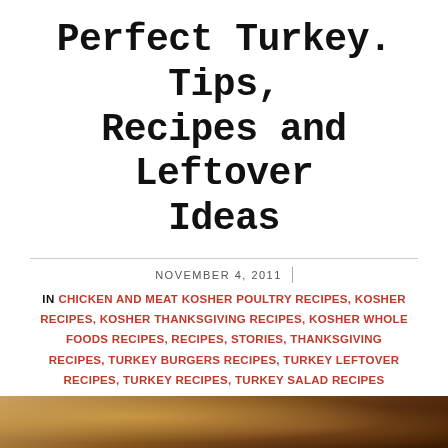Perfect Turkey. Tips, Recipes and Leftover Ideas
NOVEMBER 4, 2011
IN CHICKEN AND MEAT KOSHER POULTRY RECIPES, KOSHER RECIPES, KOSHER THANKSGIVING RECIPES, KOSHER WHOLE FOODS RECIPES, RECIPES, STORIES, THANKSGIVING RECIPES, TURKEY BURGERS RECIPES, TURKEY LEFTOVER RECIPES, TURKEY RECIPES, TURKEY SALAD RECIPES
Perfect Turkey: The Whole Scoop!
[Figure (photo): Partial view of a cooked turkey at the bottom of the page]